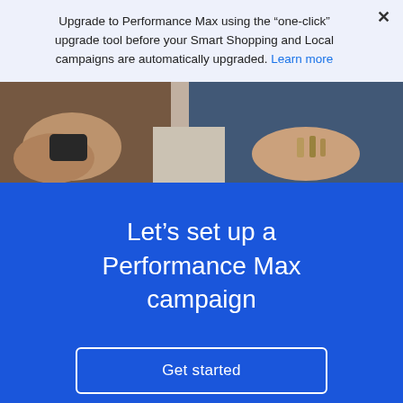Upgrade to Performance Max using the “one-click” upgrade tool before your Smart Shopping and Local campaigns are automatically upgraded. Learn more
[Figure (photo): Close-up photo of two people sitting outdoors; one person holds a small dark object (possibly a phone or game controller) with both hands visible; the other person in a denim jacket has bracelets on their wrist; beige/stone background.]
Let’s set up a Performance Max campaign
Get started
Get started